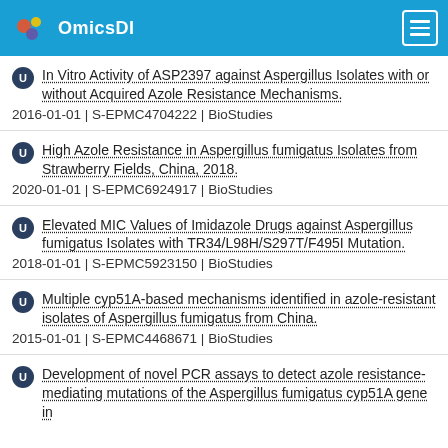OmicsDI
In Vitro Activity of ASP2397 against Aspergillus Isolates with or without Acquired Azole Resistance Mechanisms.
2016-01-01 | S-EPMC4704222 | BioStudies
High Azole Resistance in Aspergillus fumigatus Isolates from Strawberry Fields, China, 2018.
2020-01-01 | S-EPMC6924917 | BioStudies
Elevated MIC Values of Imidazole Drugs against Aspergillus fumigatus Isolates with TR34/L98H/S297T/F495I Mutation.
2018-01-01 | S-EPMC5923150 | BioStudies
Multiple cyp51A-based mechanisms identified in azole-resistant isolates of Aspergillus fumigatus from China.
2015-01-01 | S-EPMC4468671 | BioStudies
Development of novel PCR assays to detect azole resistance-mediating mutations of the Aspergillus fumigatus cyp51A gene in…